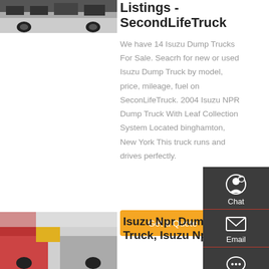[Figure (photo): Bottom underside of a truck, partial view]
Listings - SecondLifeTruck
We have 14 Isuzu Dump Trucks For Sale. Seacrh for new or used Isuzu Dump Truck by model, price, mileage, fuel on SeconLifeTruck. 2004 Isuzu NPR Dump Truck With Leaf Collection System Located binghamton, New York This truck runs and drives perfectly.
Get a Quote
[Figure (photo): Red Isuzu NPR dump truck listing image]
Isuzu Npr Dump Truck, Isuzu Npr...